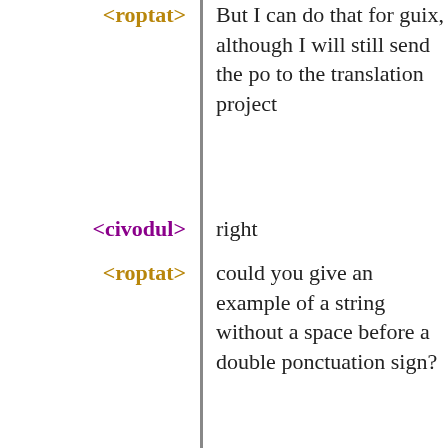But I can do that for guix, although I will still send the po to the translation project
right
could you give an example of a string without a space before a double ponctuation sign?
I've tried to be carefull about that
"exception rattrapée pendant l’exécution de « ~a » sur le service